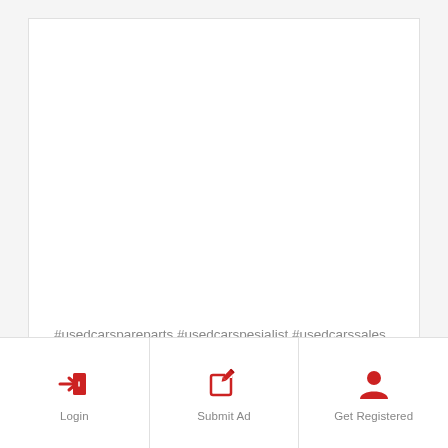#usedcarspareparts #usedcarspesialist #usedcarssales #usedcarsni #usedcarsmobile #usedcarsdealership #usedcarstrading #carbuyingsupport #oldcar #carresale #sellcar #carsales #cars
[Figure (infographic): Bottom navigation bar with three items: Login (arrow into door icon), Submit Ad (pencil/edit icon), Get Registered (person icon), all in red on white background]